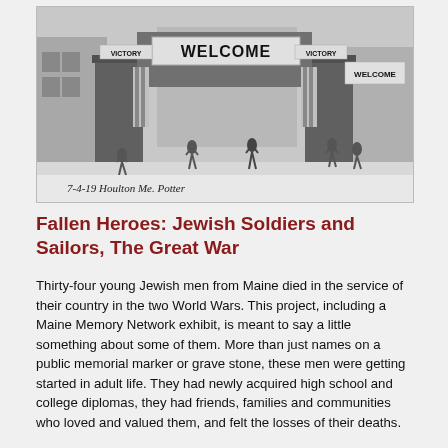[Figure (photo): Black and white photograph of a decorated welcome arch in Houlton, ME on 7-4-19, with WELCOME and VICTORY signs, covered in foliage, with people walking beneath it. Handwritten caption at bottom reads '7-4-19  Houlton Me.  Potter']
Fallen Heroes: Jewish Soldiers and Sailors, The Great War
Thirty-four young Jewish men from Maine died in the service of their country in the two World Wars. This project, including a Maine Memory Network exhibit, is meant to say a little something about some of them. More than just names on a public memorial marker or grave stone, these men were getting started in adult life. They had newly acquired high school and college diplomas, they had friends, families and communities who loved and valued them, and felt the losses of their deaths.